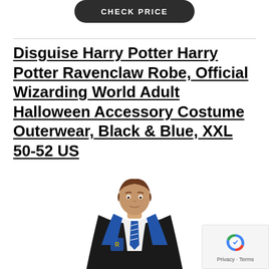[Figure (screenshot): Dark rounded button with text CHECK PRICE in white uppercase letters]
Disguise Harry Potter Harry Potter Ravenclaw Robe, Official Wizarding World Adult Halloween Accessory Costume Outerwear, Black & Blue, XXL 50-52 US
[Figure (photo): A male model wearing a Ravenclaw Harry Potter costume robe - black robe with blue satin trim, Ravenclaw house crest, white collared shirt and blue striped tie underneath. The model has brown hair.]
[Figure (other): reCAPTCHA privacy badge with blue recycle-style icon and text: Privacy - Terms]